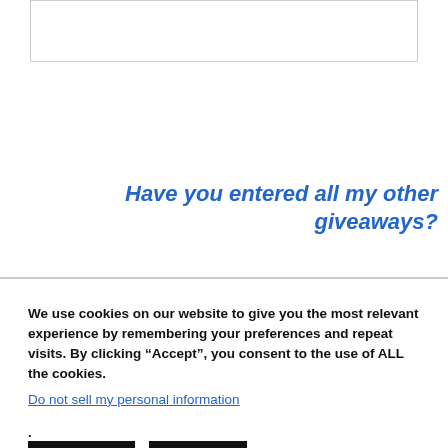[Figure (other): White rectangular image/embed box with border]
Have you entered all my other giveaways?
We use cookies on our website to give you the most relevant experience by remembering your preferences and repeat visits. By clicking “Accept”, you consent to the use of ALL the cookies.
Do not sell my personal information.
Settings
Accept